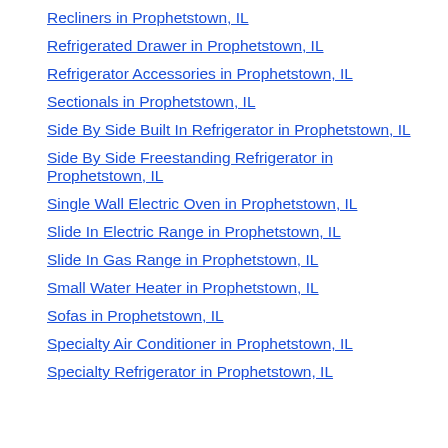Recliners in Prophetstown, IL
Refrigerated Drawer in Prophetstown, IL
Refrigerator Accessories in Prophetstown, IL
Sectionals in Prophetstown, IL
Side By Side Built In Refrigerator in Prophetstown, IL
Side By Side Freestanding Refrigerator in Prophetstown, IL
Single Wall Electric Oven in Prophetstown, IL
Slide In Electric Range in Prophetstown, IL
Slide In Gas Range in Prophetstown, IL
Small Water Heater in Prophetstown, IL
Sofas in Prophetstown, IL
Specialty Air Conditioner in Prophetstown, IL
Specialty Refrigerator in Prophetstown, IL